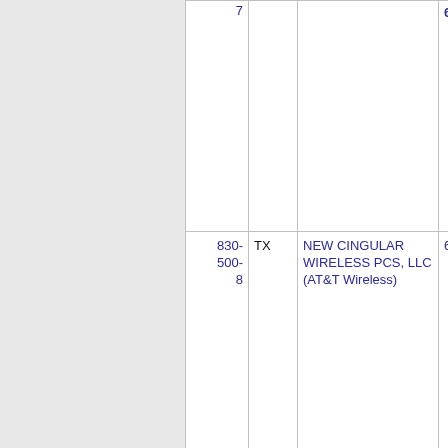| NPA-NXX | State | Company |  |
| --- | --- | --- | --- |
| 7 |  |  |  |
| 830-500-8 | TX | NEW CINGULAR WIRELESS PCS, LLC (AT&T Wireless) | 6 |
| 830-500- | TX | NEW CINGULAR WIRELESS PCS, LLC | 6 |